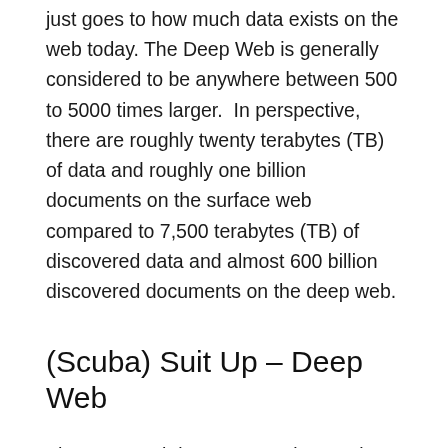just goes to how much data exists on the web today. The Deep Web is generally considered to be anywhere between 500 to 5000 times larger. In perspective, there are roughly twenty terabytes (TB) of data and roughly one billion documents on the surface web compared to 7,500 terabytes (TB) of discovered data and almost 600 billion discovered documents on the deep web.
(Scuba) Suit Up – Deep Web
The Deep web in essence – is exactly opposite to the Surface web in that it contains data that cannot be discovered by a search engine. The data in the deep web is still publicly accessible, though you will need special access to this data in the form of access